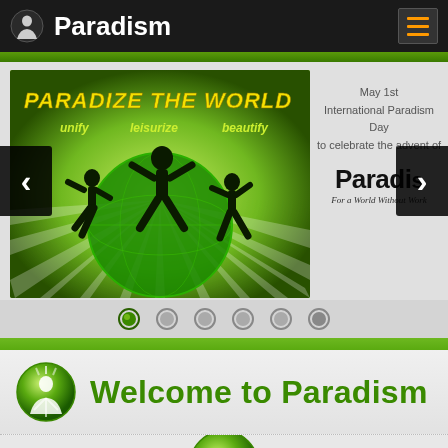Paradism
[Figure (screenshot): Slideshow banner showing 'PARADIZE THE WORLD - unify leisurize beautify' with silhouettes of people jumping in front of a globe on a green sunburst background. Right side shows partial text: 'May 1st International Paradism Day to celebrate the advent of Paradism - For a World Without Work'. Navigation arrows on left and right. Dot indicators below.]
Welcome to Paradism